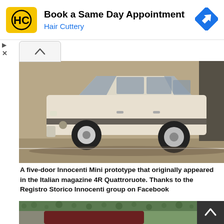[Figure (screenshot): Hair Cuttery advertisement banner with yellow logo, text 'Book a Same Day Appointment', 'Hair Cuttery' in blue, and a blue navigation/map arrow icon on the right]
[Figure (photo): Sepia/black-and-white vintage photograph of a white five-door Innocenti Mini prototype car parked on a street, viewed from the side]
A five-door Innocenti Mini prototype that originally appeared in the Italian magazine 4R Quattroruote. Thanks to the Registro Storico Innocenti group on Facebook
[Figure (photo): Partial view of the bottom of another vintage photograph showing a dark red/maroon car near a stone wall with green foliage]